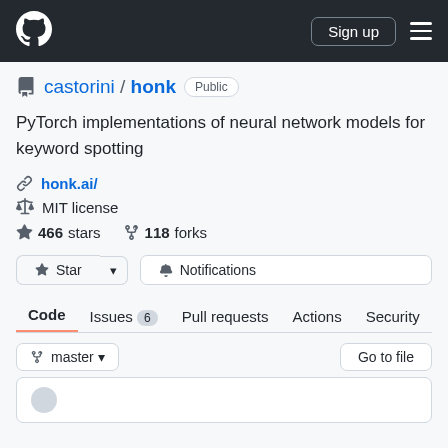GitHub navigation bar with logo, Sign up button, and menu
castorini / honk  Public
PyTorch implementations of neural network models for keyword spotting
honk.ai/
MIT license
466 stars   118 forks
Star  Notifications
Code  Issues 6  Pull requests  Actions  Security
master  Go to file